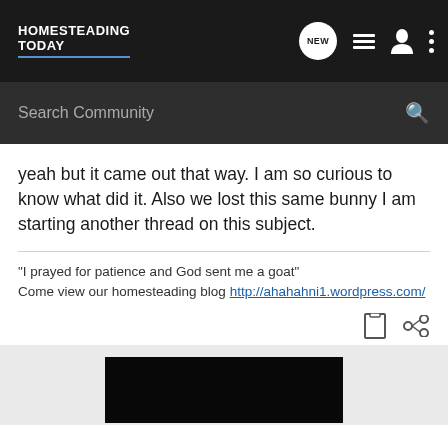HOMESTEADING TODAY
Search Community
yeah but it came out that way. I am so curious to know what did it. Also we lost this same bunny I am starting another thread on this subject.
"I prayed for patience and God sent me a goat"
Come view our homesteading blog http://ahahahni1.wordpress.com/
[Figure (photo): Dark/black image at bottom of page, partially visible]